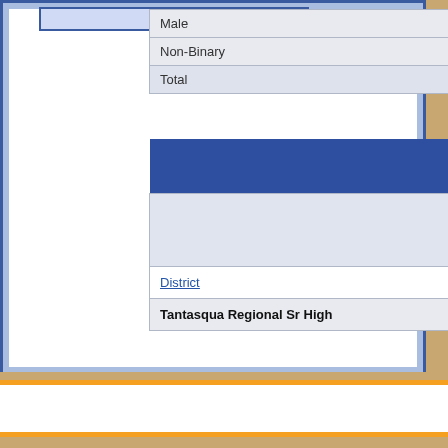|  |
| --- |
| Male |
| Non-Binary |
| Total |
|  |
| --- |
|  |
| District |
| Tantasqua Regional Sr High |